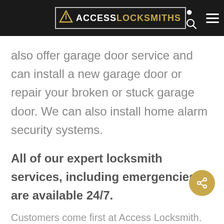ACCESS LOCKSMITHS
also offer garage door service and can install a new garage door or repair your broken or stuck garage door. We can also install home alarm security systems.
All of our expert locksmith services, including emergencies, are available 24/7.
Customers come first at Access Locksmith.